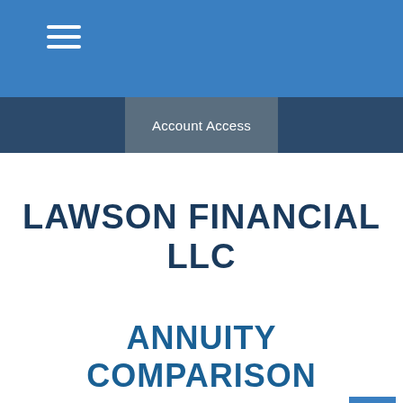Account Access
LAWSON FINANCIAL LLC
ANNUITY COMPARISON
This calculator compares a hypothetical fixed annuity with an account where the interest is taxed each year.